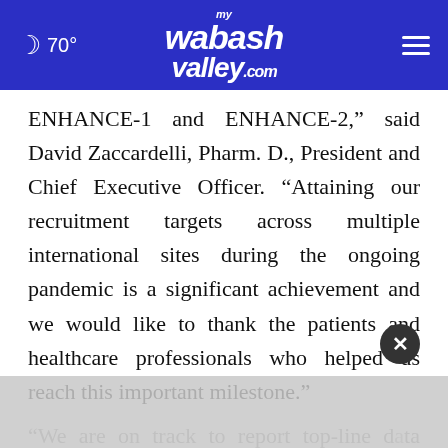70° myWabashValley.com
ENHANCE-1 and ENHANCE-2,” said David Zaccardelli, Pharm. D., President and Chief Executive Officer. “Attaining our recruitment targets across multiple international sites during the ongoing pandemic is a significant achievement and we would like to thank the patients and healthcare professionals who helped us reach this important milestone.”
“We are on track to report top-line data from ENHA[...] and